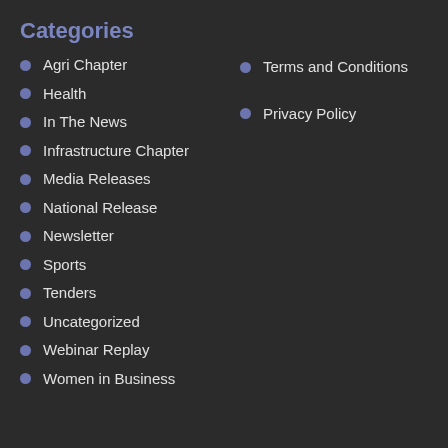Categories
Agri Chapter
Health
In The News
Infrastructure Chapter
Media Releases
National Release
Newsletter
Sports
Tenders
Uncategorized
Webinar Replay
Women in Business
Terms and Conditions
Privacy Policy